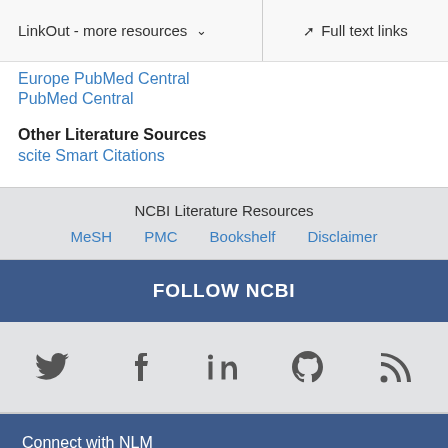LinkOut - more resources   Full text links
Europe PubMed Central
PubMed Central
Other Literature Sources
scite Smart Citations
NCBI Literature Resources
MeSH   PMC   Bookshelf   Disclaimer
FOLLOW NCBI
[Figure (other): Social media icons: Twitter, Facebook, LinkedIn, GitHub, RSS]
Connect with NLM